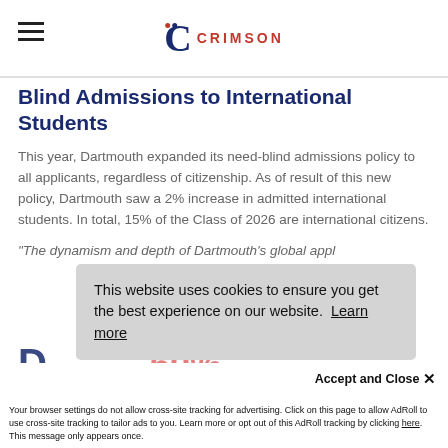Crimson Education
Blind Admissions to International Students
This year, Dartmouth expanded its need-blind admissions policy to all applicants, regardless of citizenship. As of result of this new policy, Dartmouth saw a 2% increase in admitted international students. In total, 15% of the Class of 2026 are international citizens.
“The dynamism and depth of Dartmouth’s global applicant pool is undeniable” Griffin said. “The university’s commitment to meeting 100% of demonstrated need … will draw students from all corners of the world in …”
This website uses cookies to ensure you get the best experience on our website. Learn more
Accept and Close ×
Your browser settings do not allow cross-site tracking for advertising. Click on this page to allow AdRoll to use cross-site tracking to tailor ads to you. Learn more or opt out of this AdRoll tracking by clicking here. This message only appears once.